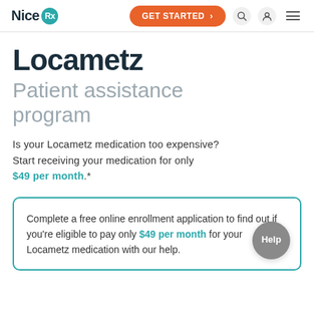NiceRx — GET STARTED >
Locametz
Patient assistance program
Is your Locametz medication too expensive? Start receiving your medication for only $49 per month.*
Complete a free online enrollment application to find out if you're eligible to pay only $49 per month for your Locametz medication with our help.